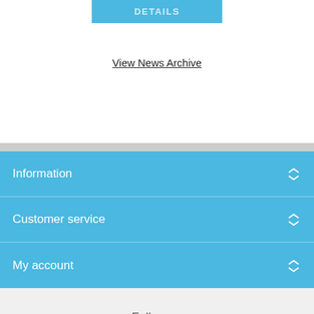[Figure (screenshot): Blue 'DETAILS' button]
View News Archive
Information
Customer service
My account
Follow us